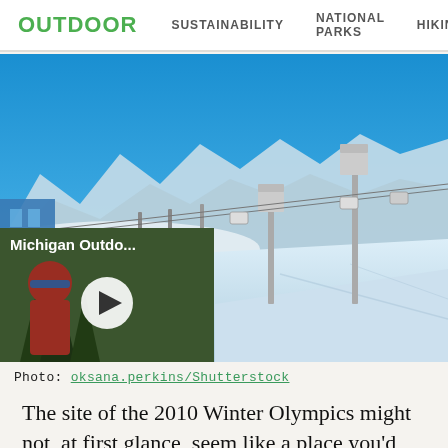OUTDOOR   SUSTAINABILITY   NATIONAL PARKS   HIKING
[Figure (photo): Ski resort photo showing chairlifts and snowy mountain slopes under a bright blue sky, with skiers on the slopes. A building is visible on the left side.]
[Figure (photo): Video thumbnail showing a person outdoors in nature with trees. Title reads 'Michigan Outdo...' with a play button overlay.]
Photo: oksana.perkins/Shutterstock
The site of the 2010 Winter Olympics might not, at first glance, seem like a place you'd take beginners